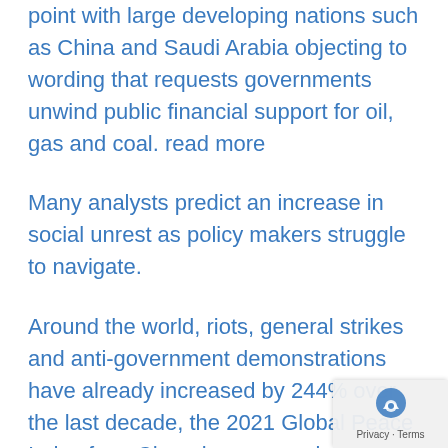point with large developing nations such as China and Saudi Arabia objecting to wording that requests governments unwind public financial support for oil, gas and coal. read more
Many analysts predict an increase in social unrest as policy makers struggle to navigate.
Around the world, riots, general strikes and anti-government demonstrations have already increased by 244% over the last decade, the 2021 Global Peace Index foun Changing economic conditions in many